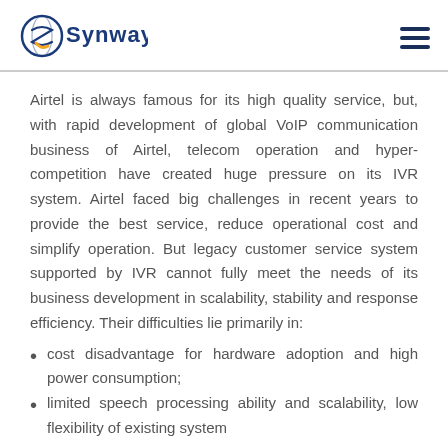Synway [logo]
Airtel is always famous for its high quality service, but, with rapid development of global VoIP communication business of Airtel, telecom operation and hyper-competition have created huge pressure on its IVR system. Airtel faced big challenges in recent years to provide the best service, reduce operational cost and simplify operation. But legacy customer service system supported by IVR cannot fully meet the needs of its business development in scalability, stability and response efficiency. Their difficulties lie primarily in:
cost disadvantage for hardware adoption and high power consumption;
limited speech processing ability and scalability, low flexibility of existing system